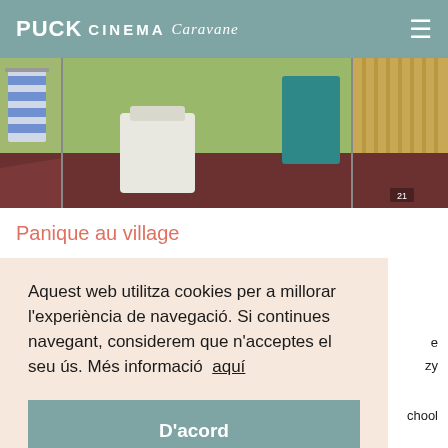PUCK CINEMA Caravane
[Figure (screenshot): Animation still from Panique au village showing a stop-motion 3D animated scene: a bathroom corner with yellow-green walls, dark red/brown floor, a white sink/toilet, a striped blue/white towel hanging on the left wall, and a teal rectangular object in the background right corner. A small watermark/number appears in the bottom right.]
Panique au village
Aquest web utilitza cookies per a millorar l'experiència de navegació. Si continues navegant, considerem que n'acceptes el seu ús. Més informació  aquí
D'acord